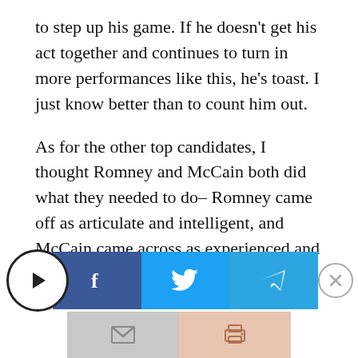to step up his game. If he doesn't get his act together and continues to turn in more performances like this, he's toast. I just know better than to count him out.
As for the other top candidates, I thought Romney and McCain both did what they needed to do– Romney came off as articulate and intelligent, and McCain came across as experienced and energetic, although at times I thought he was a little over-the-top.
[Figure (other): Social sharing bar with play button, Facebook, Twitter, Telegram share buttons, a close (X) button, and a second row with email and print buttons]